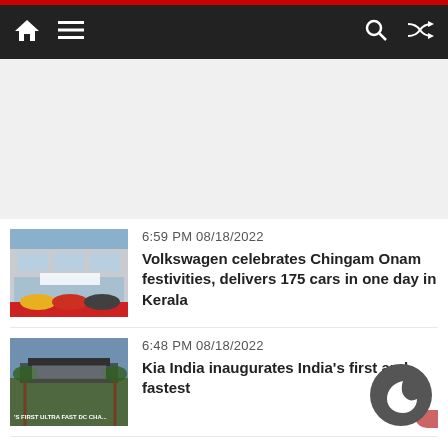Navigation bar with home, menu, search, and shuffle icons
[Figure (photo): Advertisement / blank space area]
[Figure (photo): Thumbnail of Volkswagen dealership with cars parked outside on red carpet]
6:59 PM 08/18/2022
Volkswagen celebrates Chingam Onam festivities, delivers 175 cars in one day in Kerala
[Figure (photo): Thumbnail of Kia India ultra fast DC charging station with palm trees]
6:48 PM 08/18/2022
Kia India inaugurates India's first and fastest